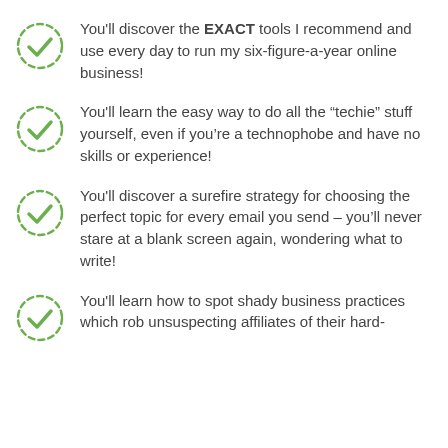You'll discover the EXACT tools I recommend and use every day to run my six-figure-a-year online business!
You'll learn the easy way to do all the “techie” stuff yourself, even if you’re a technophobe and have no skills or experience!
You'll discover a surefire strategy for choosing the perfect topic for every email you send – you’ll never stare at a blank screen again, wondering what to write!
You'll learn how to spot shady business practices which rob unsuspecting affiliates of their hard-